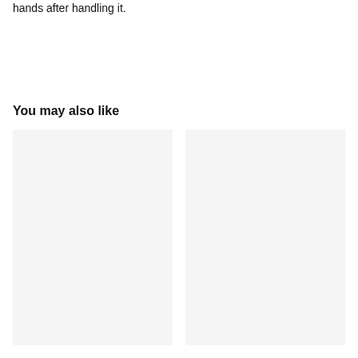hands after handling it.
You may also like
[Figure (other): Two placeholder image cards side by side, light gray background, no content visible]
[Figure (other): Second placeholder image card, light gray background, no content visible]